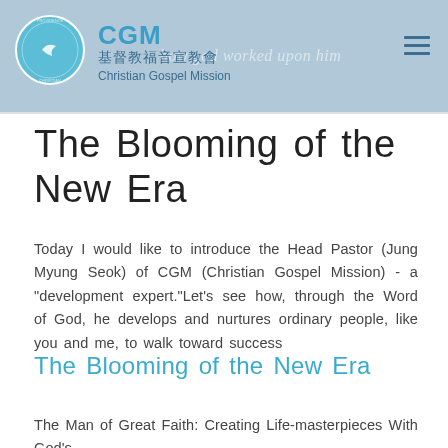[Figure (logo): CGM Christian Gospel Mission header banner with circular logo, Chinese characters 基督教福音宣教會, 'Christian Gospel Mission' text, and a faint italic watermark text 'how god worked upon him' on a blue-grey background. Hamburger menu icon top right.]
The Blooming of the New Era
Today I would like to introduce the Head Pastor (Jung Myung Seok) of CGM (Christian Gospel Mission) - a "development expert."Let's see how, through the Word of God, he develops and nurtures ordinary people, like you and me, to walk toward success
The Blooming of the New Era
The Man of Great Faith: Creating Life-masterpieces With God's...